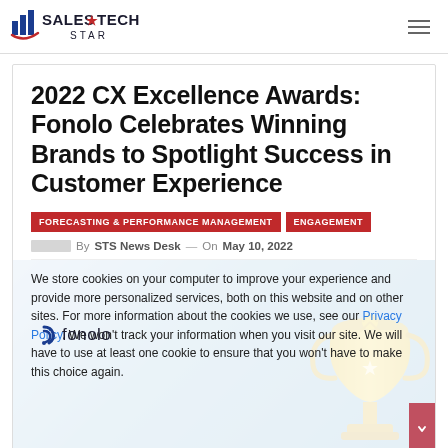[Figure (logo): SalesTech Star logo with bar chart icon and red swoosh, text reads SALESTECH STAR]
2022 CX Excellence Awards: Fonolo Celebrates Winning Brands to Spotlight Success in Customer Experience
FORECASTING & PERFORMANCE MANAGEMENT
ENGAGEMENT
By STS News Desk — On May 10, 2022
[Figure (photo): Cookie consent overlay with Fonolo logo and trophy image in background. Text: We store cookies on your computer to improve your experience and provide more personalized services, both on this website and on other sites. For more information about the cookies we use, see our Privacy Policy. We won't track your information when you visit our site. We will have to use at least one cookie to ensure that you won't have to make this choice again.]